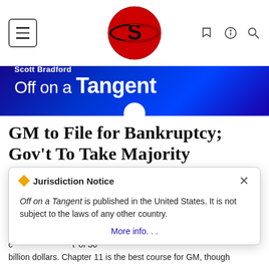[Figure (logo): Scott Bradford Off on a Tangent website header with navigation hamburger menu icon on left, circular red/black planet logo in center, and flag/info/search icons on right]
[Figure (illustration): Blue gradient banner with text 'Scott Bradford Off on a Tangent' in white, partial white circle at bottom center]
GM to File for Bankruptcy; Gov't To Take Majority Ownership
Posted May 31, 2009, 11:39 p.m.
...will be f...(Monday) a...ntrol of c...'t' of 30 billion dollars. Chapter 11 is the best course for GM, though
[Figure (screenshot): Jurisdiction Notice modal popup with orange diamond icon, close X button, text 'Off on a Tangent is published in the United States. It is not subject to the laws of any other country.' and 'More info...' link]